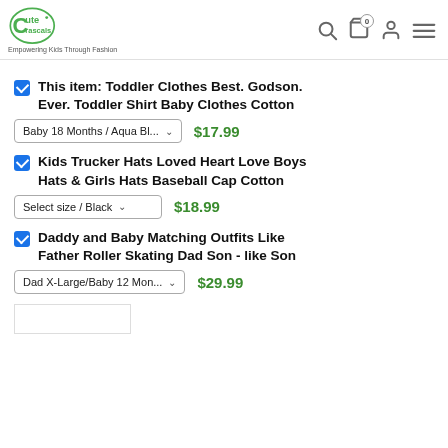Cute Rascals — Empowering Kids Through Fashion
This item: Toddler Clothes Best. Godson. Ever. Toddler Shirt Baby Clothes Cotton — Baby 18 Months / Aqua Bl... — $17.99
Kids Trucker Hats Loved Heart Love Boys Hats & Girls Hats Baseball Cap Cotton — Select size / Black — $18.99
Daddy and Baby Matching Outfits Like Father Roller Skating Dad Son - like Son — Dad X-Large/Baby 12 Mon... — $29.99